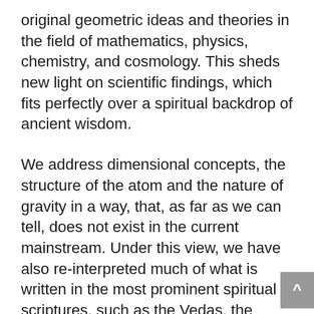original geometric ideas and theories in the field of mathematics, physics, chemistry, and cosmology. This sheds new light on scientific findings, which fits perfectly over a spiritual backdrop of ancient wisdom.
We address dimensional concepts, the structure of the atom and the nature of gravity in a way, that, as far as we can tell, does not exist in the current mainstream. Under this view, we have also re-interpreted much of what is written in the most prominent spiritual scriptures, such as the Vedas, the Torah, the Bible and the Koran.
As a consequence, we believe that our findings contribute to a brighter future, bringing greater logical analysis to the religions, and more spiritual awareness to the sciences.